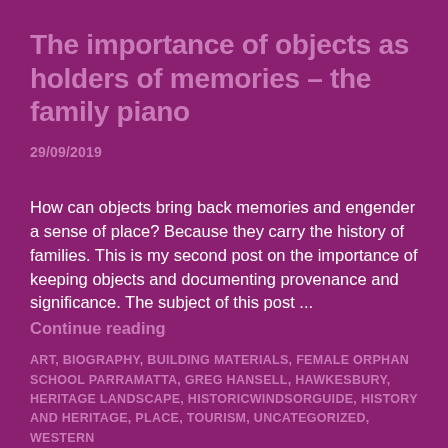The importance of objects as holders of memories – the family piano
29/09/2019
How can objects bring back memories and engender a sense of place? Because they carry the history of families. This is my second post on the importance of keeping objects and documenting provenance and significance. The subject of this post ...
Continue reading
ART, BIOGRAPHY, BUILDING MATERIALS, FEMALE ORPHAN SCHOOL PARRAMATTA, GREG HANSELL, HAWKESBURY, HERITAGE LANDSCAPE, HISTORICWINDSORGUIDE, HISTORY AND HERITAGE, PLACE, TOURISM, UNCATEGORIZED, WESTERN